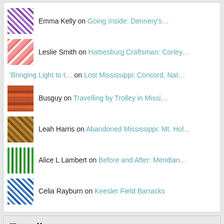Emma Kelly on Going Inside: Dennery's…
Leslie Smith on Hattiesburg Craftsman: Corley…
'Bringing Light to t… on Lost Mississippi: Concord, Nat…
Busguy on Travelling by Trolley in Missi…
Leah Harris on Abandoned Mississippi: Mt. Hol…
Alice L Lambert on Before and After: Meridian…
Celia Rayburn on Keesler Field Barracks
Trending
Pearl River County Rural Schools: Part I
Help build a list of required Mississippi places
Second Empire = Haunted House?